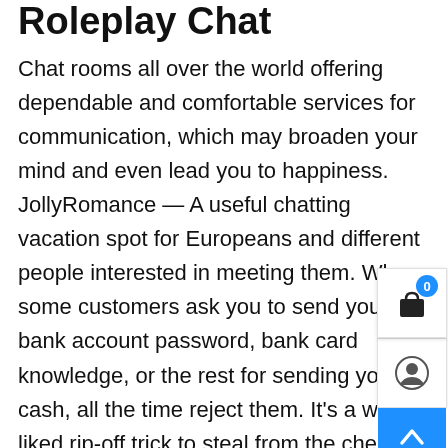Roleplay Chat
Chat rooms all over the world offering dependable and comfortable services for communication, which may broaden your mind and even lead you to happiness. JollyRomance — A useful chatting vacation spot for Europeans and different people interested in meeting them. When some customers ask you to send your bank account password, bank card knowledge, or the rest for sending you cash, all the time reject them. It's a well-liked rip-off trick to steal from the checking account or fee service. In the majority of circumstances, your email or card number is sufficient for making transactions. DateNiceAsian — A premium online chat with beautiful Asian ladies yearning for men's consideration. Inspirationfeed is a digital journal covering every thing for quotes, internet value, self-development,